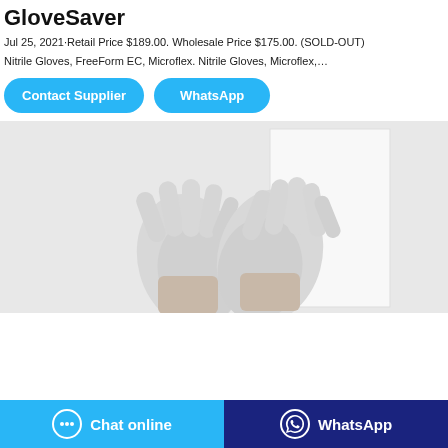GloveSaver
Jul 25, 2021·Retail Price $189.00. Wholesale Price $175.00. (SOLD-OUT)
Nitrile Gloves, FreeForm EC, Microflex. Nitrile Gloves, Microflex,...
[Figure (other): Two cyan rounded-rectangle buttons: 'Contact Supplier' and 'WhatsApp']
[Figure (photo): Photo of two hands wearing white nitrile gloves raised against a white box/background on a light grey background]
[Figure (other): Bottom bar with two buttons: 'Chat online' (cyan/blue with chat icon) and 'WhatsApp' (dark navy with WhatsApp icon)]